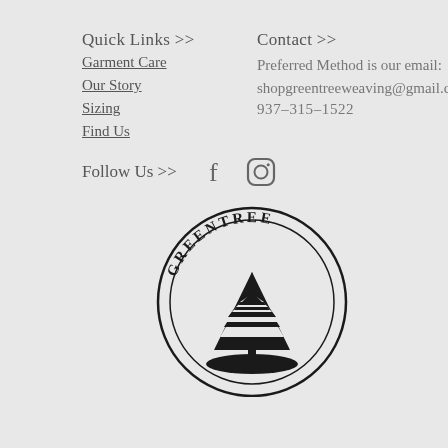Quick Links >>
Garment Care
Our Story
Sizing
Find Us
Contact >>
Preferred Method is our email: shopgreentreeweaving@gmail.com
937-315-1522
Follow Us >>
[Figure (logo): Greentree Weaving circular logo with pine tree silhouette and text 'GREENTREE' arched at top]
[Figure (logo): Facebook icon (f)]
[Figure (logo): Instagram icon (circle with camera)]